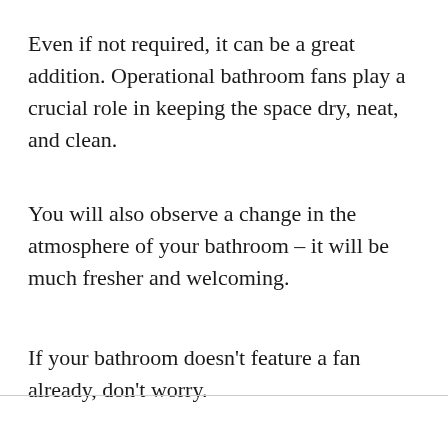Even if not required, it can be a great addition. Operational bathroom fans play a crucial role in keeping the space dry, neat, and clean.
You will also observe a change in the atmosphere of your bathroom – it will be much fresher and welcoming.
If your bathroom doesn't feature a fan already, don't worry.